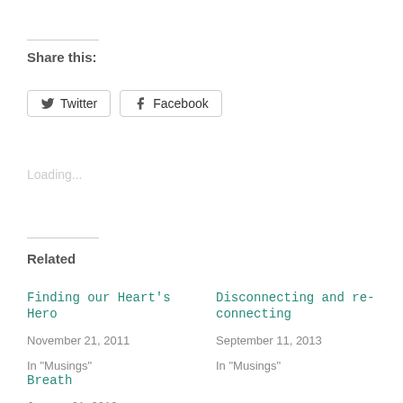Share this:
Twitter  Facebook
Loading...
Related
Finding our Heart's Hero
November 21, 2011
In "Musings"
Disconnecting and re-connecting
September 11, 2013
In "Musings"
Breath
January 21, 2012